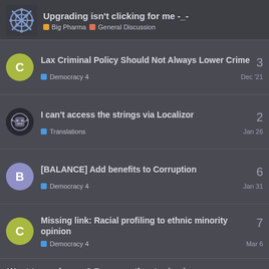Upgrading isn't clicking for me -_- | Big Pharma | General Discussion
Lax Criminal Policy Should Not Always Lower Crime | Democracy 4 | 3 | Dec '21
I can't access the strings via Localizor | Translations | 2 | Jan 26
[BALANCE] Add benefits to Corruption | Democracy 4 | 6 | Jan 31
Missing link: Racial profiling to ethnic minority opinion | Democracy 4 | 7 | Mar 6
Want to read more? Browse other topics in General Discussion or view latest topics.